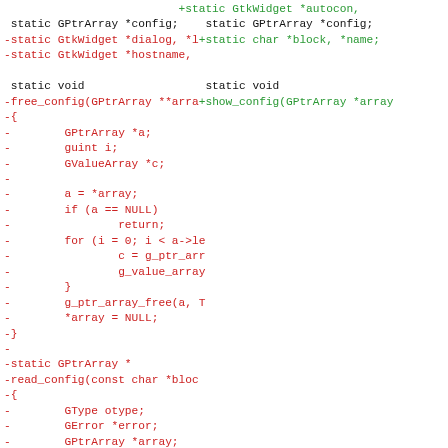[Figure (screenshot): A diff view of C source code showing removed lines (in red, prefixed with -) and added lines (in green, prefixed with +). The code shows functions related to GTK widget configuration, including free_config, show_config, and read_config functions with GPtrArray operations.]